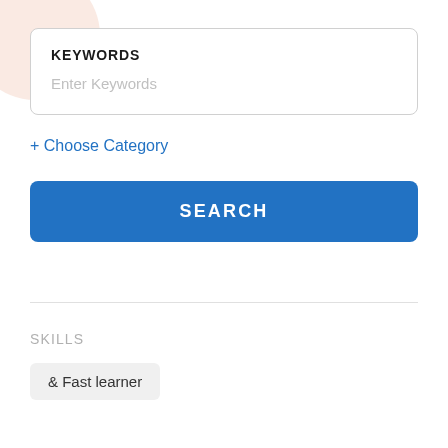KEYWORDS
Enter Keywords
+ Choose Category
SEARCH
SKILLS
& Fast learner